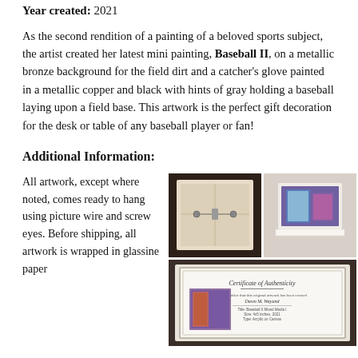Year created: 2021
As the second rendition of a painting of a beloved sports subject, the artist created her latest mini painting, Baseball II, on a metallic bronze background for the field dirt and a catcher's glove painted in a metallic copper and black with hints of gray holding a baseball laying upon a field base. This artwork is the perfect gift decoration for the desk or table of any baseball player or fan!
Additional Information:
All artwork, except where noted, comes ready to hang using picture wire and screw eyes. Before shipping, all artwork is wrapped in glassine paper
[Figure (photo): Two photos side by side showing back of canvas with wire hanger and a small colorful painting on a surface]
[Figure (photo): Photo of a Certificate of Authenticity document with a small painting visible]